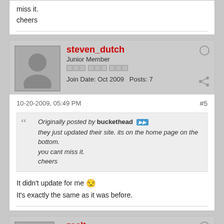miss it.
cheers
steven_dutch
Junior Member
Join Date: Oct 2009  Posts: 7
10-20-2009, 05:49 PM  #5
Originally posted by buckethead
they just updated their site. its on the home page on the bottom. you cant miss it.
cheers
It didn't update for me 😒
It's exactly the same as it was before.
zsolt
Junior Member